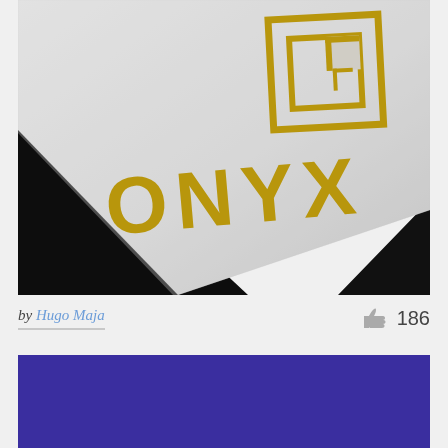[Figure (photo): Close-up photo of a white textured paper/card with gold embossed ONYX logo (geometric square G-shaped symbol) and the word ONYX in gold capital letters. The card sits at an angle against a dark background.]
by Hugo Maja
186 likes
[Figure (photo): Solid deep purple/indigo colored rectangle, partial view of a second portfolio item card.]